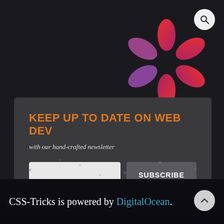[Figure (logo): CSS-Tricks asterisk/snowflake logo in red-orange gradient colors on dark background, upper right area]
KEEP UP TO DATE ON WEB DEV
with our hand-crafted newsletter
[Figure (screenshot): Email input field (light gray rectangle) and SUBSCRIBE button (dark gray rectangle)]
CSS-Tricks is powered by DigitalOcean.